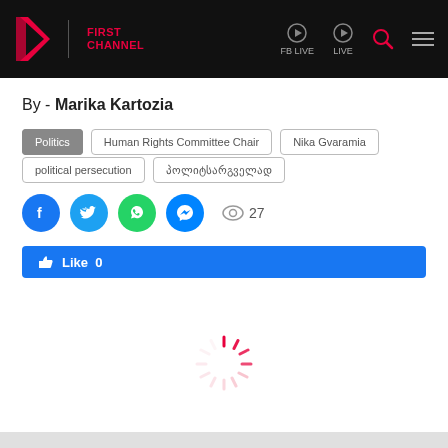[Figure (logo): First Channel TV logo with red angular icon and 'FIRST CHANNEL' text in red, navigation bar with FB LIVE, LIVE, search, and menu icons on black background]
By - Marika Kartozia
Politics
Human Rights Committee Chair
Nika Gvaramia
political persecution
პოლიტსარგველად
[Figure (infographic): Social sharing buttons: Facebook (blue circle), Twitter (blue circle), WhatsApp (green circle), Messenger (blue circle), eye icon with view count 27, and Facebook Like button showing 'Like 0']
[Figure (other): Loading spinner animation with pink/red dashes in circular pattern]